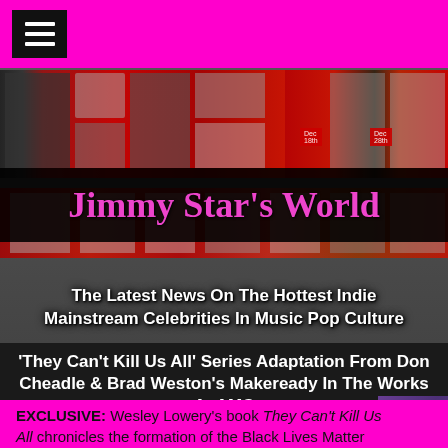[Figure (screenshot): Hamburger menu icon (three horizontal lines) on black background in top-left corner of magenta header bar]
[Figure (photo): Jimmy Star's World website banner: collage of celebrity photos on red background, with black band showing 'Jimmy Star's World' in magenta/pink serif text, and subtitle 'The Latest News On The Hottest Indie Mainstream Celebrities In Music Pop Culture' in white bold text over the photo collage]
'They Can't Kill Us All' Series Adaptation From Don Cheadle & Brad Weston's Makeready In The Works At AMC
EXCLUSIVE: Wesley Lowery's book They Can't Kill Us All chronicles the formation of the Black Lives Matter